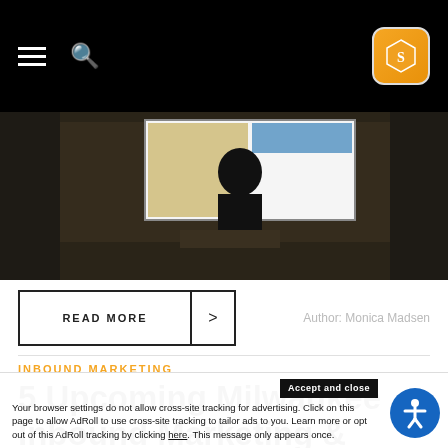Navigation bar with hamburger menu, search icon, and logo badge
[Figure (photo): Dark photo of a person standing in front of a presentation screen in a conference room]
READ MORE >
Author: Monica Madsen
INBOUND MARKETING
5 Upcoming Milwaukee Inbound Marketing & Social
Accept and close
Your browser settings do not allow cross-site tracking for advertising. Click on this page to allow AdRoll to use cross-site tracking to tailor ads to you. Learn more or opt out of this AdRoll tracking by clicking here. This message only appears once.